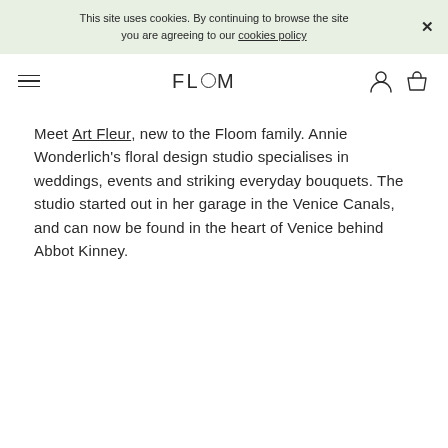This site uses cookies. By continuing to browse the site you are agreeing to our cookies policy
[Figure (logo): Floom logo with hamburger menu, user icon, and basket icon in navigation bar]
Meet Art Fleur, new to the Floom family. Annie Wonderlich's floral design studio specialises in weddings, events and striking everyday bouquets. The studio started out in her garage in the Venice Canals, and can now be found in the heart of Venice behind Abbot Kinney.